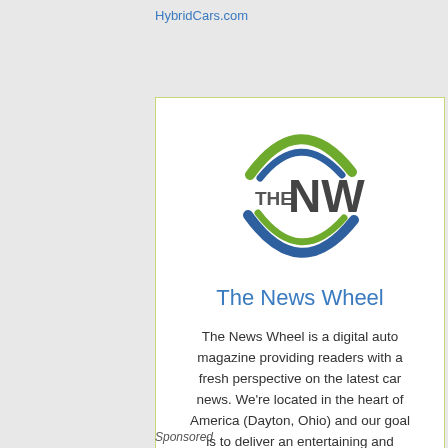HybridCars.com
[Figure (logo): The News Wheel circular logo with green and blue swoosh arcs around 'THE NW' text in dark gray]
The News Wheel
The News Wheel is a digital auto magazine providing readers with a fresh perspective on the latest car news. We're located in the heart of America (Dayton, Ohio) and our goal is to deliver an entertaining and informative perspective on what's trending in the automotive world. See more articles from The News Wheel.
Sponsored